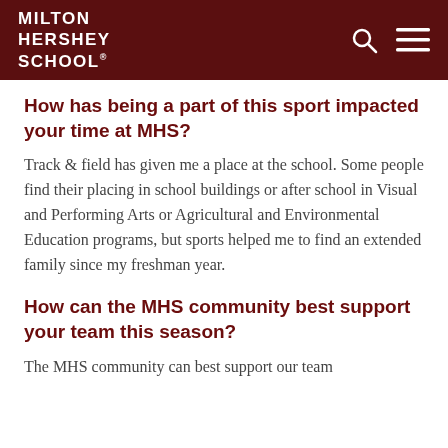Milton Hershey School
How has being a part of this sport impacted your time at MHS?
Track & field has given me a place at the school. Some people find their placing in school buildings or after school in Visual and Performing Arts or Agricultural and Environmental Education programs, but sports helped me to find an extended family since my freshman year.
How can the MHS community best support your team this season?
The MHS community can best support our team